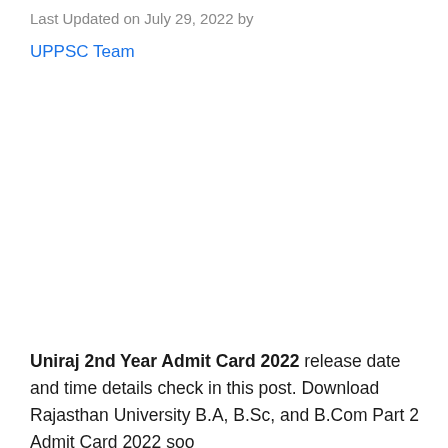Last Updated on July 29, 2022 by
UPPSC Team
Uniraj 2nd Year Admit Card 2022 release date and time details check in this post. Download Rajasthan University B.A, B.Sc, and B.Com Part 2 Admit Card 2022 soo